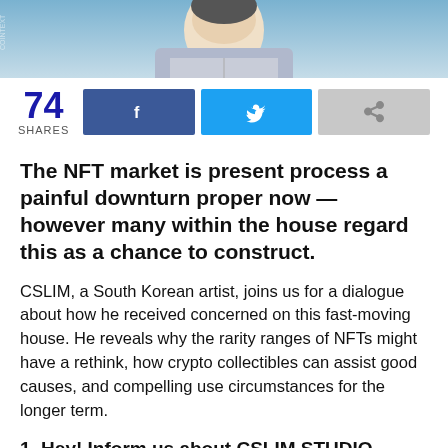[Figure (illustration): Cartoon illustration of a person at a desk, partial view showing top portion, blue and gray tones]
74 SHARES
The NFT market is present process a painful downturn proper now — however many within the house regard this as a chance to construct.
CSLIM, a South Korean artist, joins us for a dialogue about how he received concerned on this fast-moving house. He reveals why the rarity ranges of NFTs might have a rethink, how crypto collectibles can assist good causes, and compelling use circumstances for the longer term.
1. Hey! Inform us about CSLIM STUDIO — what's your story… and your important aim?
I'm an artist with an engineering background — and I've labored on AI, autonomous driving and blockchain